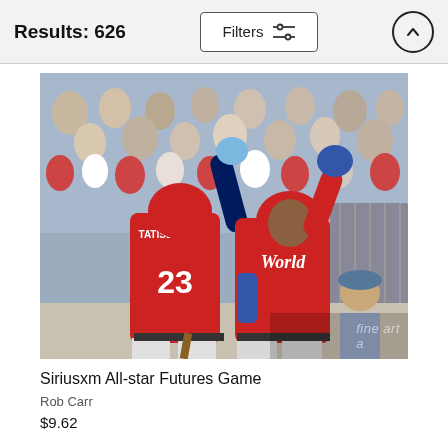Results: 626
[Figure (photo): Two baseball players in red World team jerseys celebrating at the SiriusXM All-Star Futures Game. Player #23 TATIS JR. in foreground facing away, second player in World jersey facing camera with arm raised. Crowd visible in background. Fine Art America watermark visible.]
Siriusxm All-star Futures Game
Rob Carr
$9.62